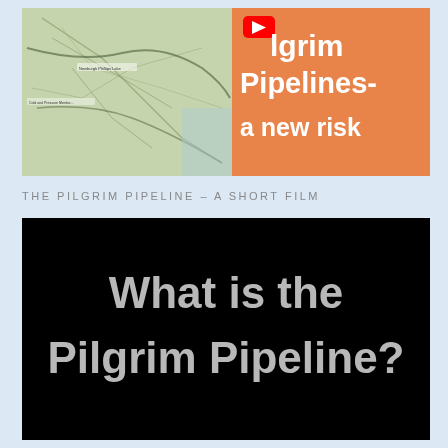[Figure (screenshot): Video thumbnail showing a map of the northeastern US on the left and an orange panel on the right with text 'Pilgrim Pipelines- a new risk' and a YouTube play button icon.]
THE PILGRIM PIPELINE – A SHORT FILM
[Figure (screenshot): Video still with black background and large white/gray bold text reading 'What is the Pilgrim Pipeline?']